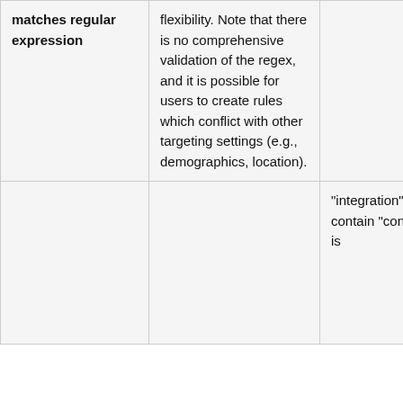| matches regular expression | flexibility. Note that there is no comprehensive validation of the regex, and it is possible for users to create rules which conflict with other targeting settings (e.g., demographics, location). |  |
|  |  | “integration” does not contain “connection” is |